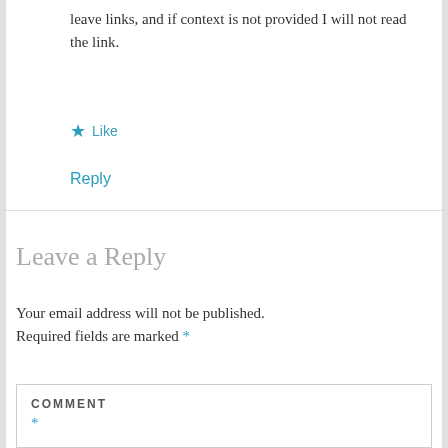leave links, and if context is not provided I will not read the link.
★ Like
Reply
Leave a Reply
Your email address will not be published. Required fields are marked *
COMMENT *